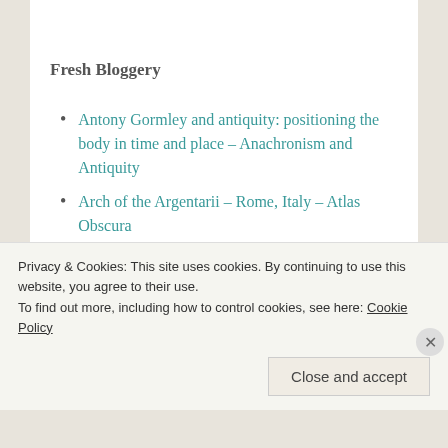Fresh Bloggery
Antony Gormley and antiquity: positioning the body in time and place – Anachronism and Antiquity
Arch of the Argentarii – Rome, Italy – Atlas Obscura
Lenaeus: Teacher, Chief Minister of Shade – SENTENTIAE ANTIQUAE
Privacy & Cookies: This site uses cookies. By continuing to use this website, you agree to their use.
To find out more, including how to control cookies, see here: Cookie Policy
Close and accept